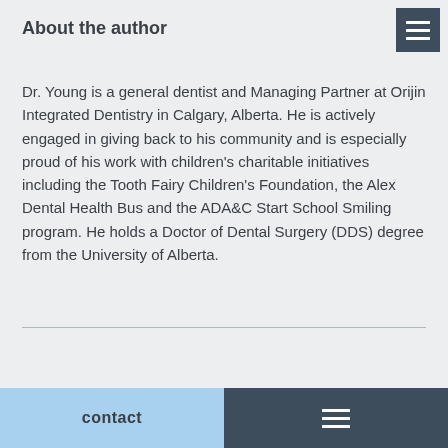About the author
Dr. Young is a general dentist and Managing Partner at Orijin Integrated Dentistry in Calgary, Alberta. He is actively engaged in giving back to his community and is especially proud of his work with children's charitable initiatives including the Tooth Fairy Children's Foundation, the Alex Dental Health Bus and the ADA&C Start School Smiling program. He holds a Doctor of Dental Surgery (DDS) degree from the University of Alberta.
contact